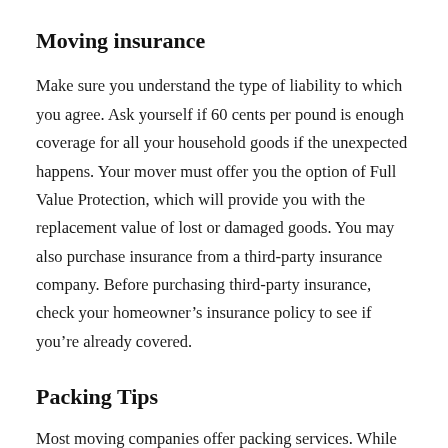Moving insurance
Make sure you understand the type of liability to which you agree. Ask yourself if 60 cents per pound is enough coverage for all your household goods if the unexpected happens. Your mover must offer you the option of Full Value Protection, which will provide you with the replacement value of lost or damaged goods. You may also purchase insurance from a third-party insurance company. Before purchasing third-party insurance, check your homeowner’s insurance policy to see if you’re already covered.
Packing Tips
Most moving companies offer packing services. While